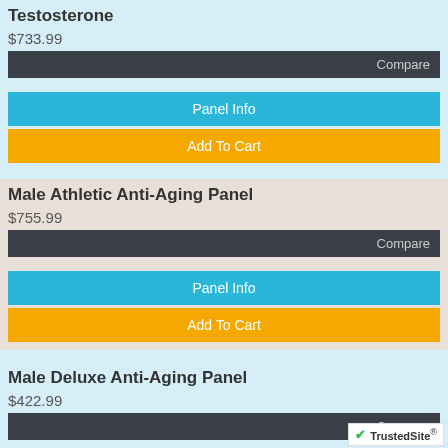Testosterone
$733.99
Compare
Panel Info
Add To Cart
Male Athletic Anti-Aging Panel
$755.99
Compare
Panel Info
Add To Cart
Male Deluxe Anti-Aging Panel
$422.99
Compare
Panel Info
Add To Cart